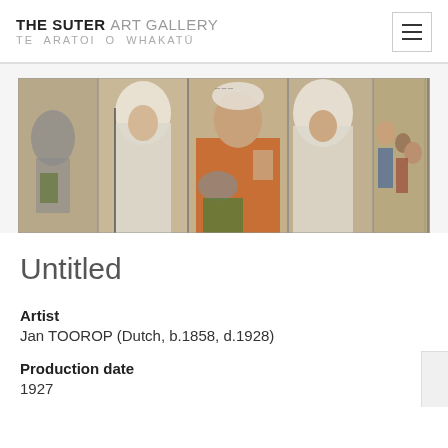THE SUTER ART GALLERY TE ARATOI O WHAKATŪ
[Figure (photo): A wide horizontal artwork showing multiple figures in a triptych-like composition. Central figure is a bald man in an orange robe with hand raised. Flanking figures are women in white veils/head coverings. Additional figures visible to the right.]
Untitled
Artist
Jan TOOROP (Dutch, b.1858, d.1928)
Production date
1927